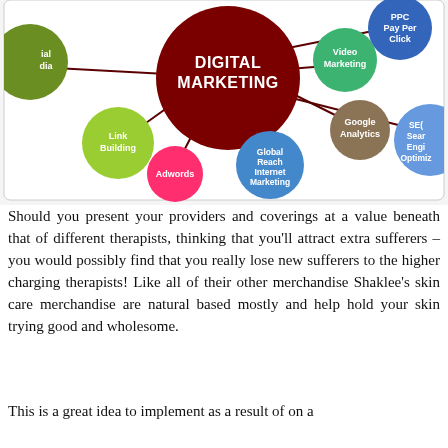[Figure (infographic): Digital Marketing infographic showing a large dark red central circle labeled 'DIGITAL MARKETING' connected by lines to satellite circles: PPC Pay Per Click (blue, top right), Video Marketing (green, right), Google Analytics (olive/brown, right), SEO Search Engine Optimization (blue, far right, partially cropped), Global Reach Internet Marketing (blue, center bottom), Adwords (red/pink, bottom left), Link Building (yellow-green, left), and Social Media (partially visible, far left).]
Should you present your providers and coverings at a value beneath that of different therapists, thinking that you'll attract extra sufferers – you would possibly find that you really lose new sufferers to the higher charging therapists! Like all of their other merchandise Shaklee's skin care merchandise are natural based mostly and help hold your skin trying good and wholesome.
This is a great idea to implement as a result of on a